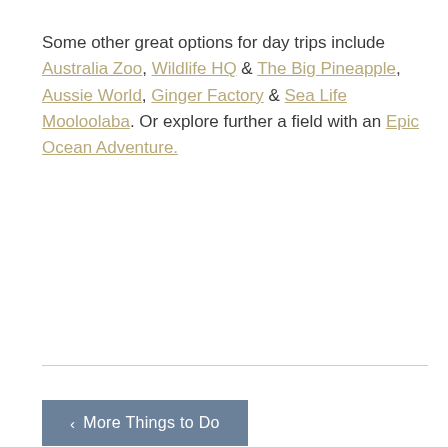Some other great options for day trips include Australia Zoo, Wildlife HQ & The Big Pineapple, Aussie World, Ginger Factory & Sea Life Mooloolaba. Or explore further a field with an Epic Ocean Adventure.
‹ More Things to Do